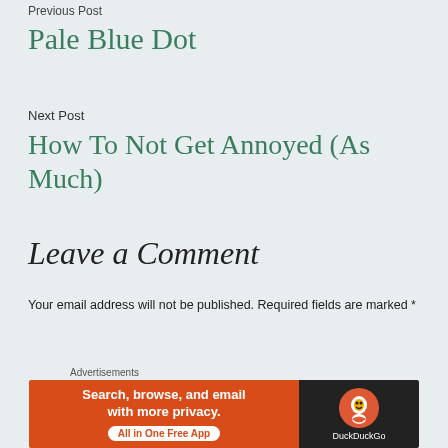Previous Post
Pale Blue Dot
Next Post
How To Not Get Annoyed (As Much)
Leave a Comment
Your email address will not be published. Required fields are marked *
Comment *
Advertisements
[Figure (screenshot): DuckDuckGo advertisement banner: orange left side with text 'Search, browse, and email with more privacy. All in One Free App' and black right side with DuckDuckGo logo and name.]